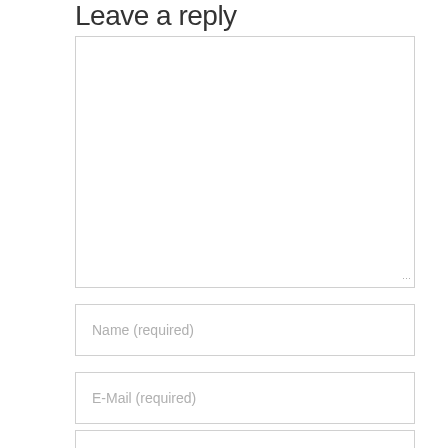Leave a reply
[Figure (other): Large empty comment text area with resize handle at bottom right]
Name (required)
E-Mail (required)
Website